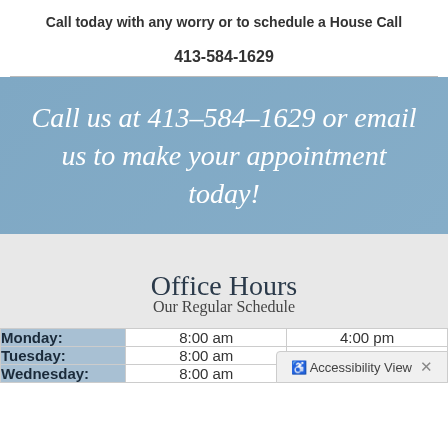Call today with any worry or to schedule a House Call
413-584-1629
Call us at 413–584–1629 or email us to make your appointment today!
Office Hours
Our Regular Schedule
| Day | Open | Close |
| --- | --- | --- |
| Monday: | 8:00 am | 4:00 pm |
| Tuesday: | 8:00 am | 4:00 pm |
| Wednesday: | 8:00 am | 4:00 pm |